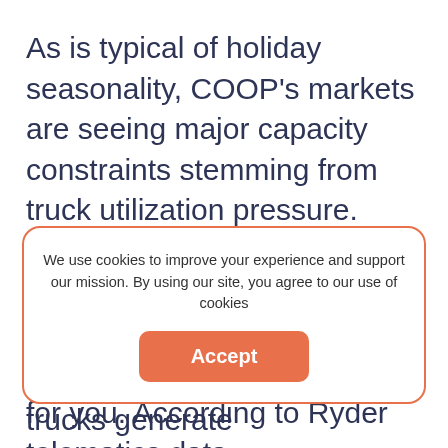As is typical of holiday seasonality, COOP's markets are seeing major capacity constraints stemming from truck utilization pressure. This means many businesses are looking to rent commercial vehicles in ways that are particularly profitable for you. According to Ryder telematics data, approximately 25 percent of commercial vehicles regularly sit idle for more than one...
We use cookies to improve your experience and support our mission. By using our site, you agree to our use of cookies
Accept
COOP to share their idle trucks generate